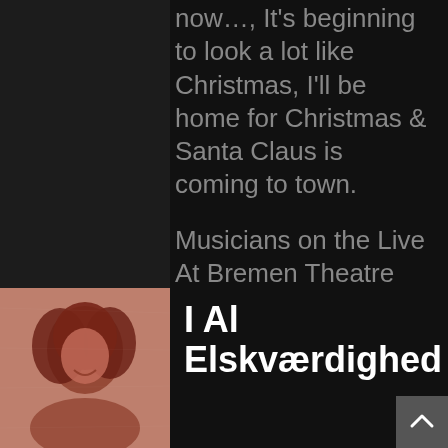now…, It's beginning to look a lot like Christmas, I'll be home for Christmas & Santa Claus is coming to town.
Musicians on the Live At Bremen Theatre album: Søren Sko, Benjamin Koppel, Søren Bebe, Jesper Bodilsen & Alex Riel.
[Figure (photo): Red-tinted photo of a person with long wavy hair, smiling, appearing to be an artist or musician portrait.]
I Al Elskværdighed